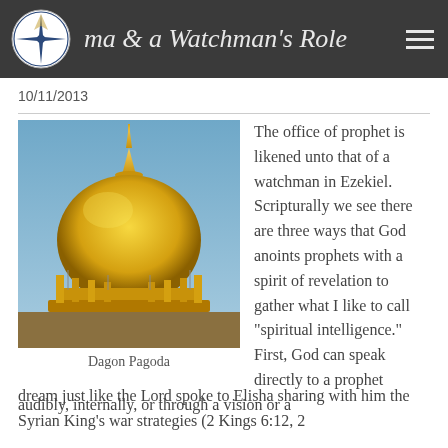ma & a Watchman's Role
10/11/2013
[Figure (photo): Golden pagoda (Shwedagon Pagoda / Dagon Pagoda) against a blue sky]
Dagon Pagoda
The office of prophet is likened unto that of a watchman in Ezekiel.  Scripturally we see there are three ways that God anoints prophets with a spirit of revelation to gather what I like to call "spiritual intelligence."  First, God can speak directly to a prophet audibly, internally, or through a vision or a dream just like the Lord spoke to Elisha sharing with him the Syrian King's war strategies (2 Kings 6:12, 2